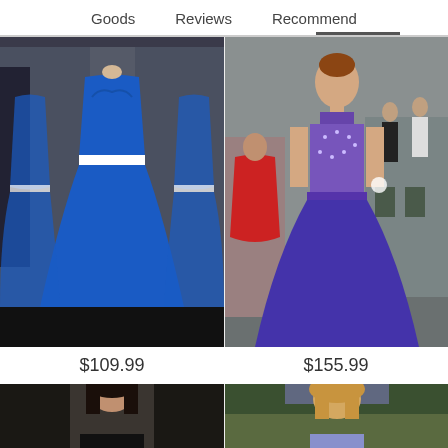Goods   Reviews   Recommend
[Figure (photo): Royal blue mermaid prom dress on a mannequin in a dress shop, with mirror reflections showing multiple angles of the strapless sweetheart neckline gown with a white belt and flared skirt.]
[Figure (photo): Young woman wearing a royal blue halter-neck beaded bodice prom dress at what appears to be a formal event, with other people in formal attire in the background.]
$109.99
$155.99
[Figure (photo): Partial view of a woman in a dark evening gown standing indoors, cropped at the bottom of the page.]
[Figure (photo): Partial view of a blonde woman in a prom dress outdoors, cropped at the bottom of the page.]